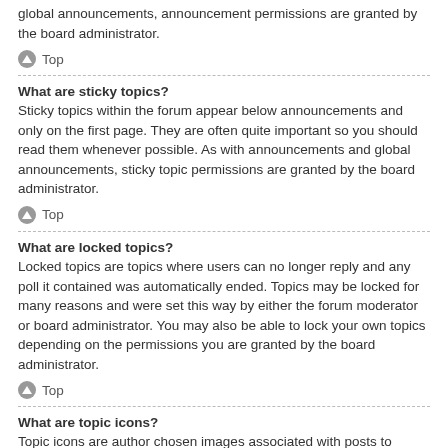global announcements, announcement permissions are granted by the board administrator.
Top
What are sticky topics?
Sticky topics within the forum appear below announcements and only on the first page. They are often quite important so you should read them whenever possible. As with announcements and global announcements, sticky topic permissions are granted by the board administrator.
Top
What are locked topics?
Locked topics are topics where users can no longer reply and any poll it contained was automatically ended. Topics may be locked for many reasons and were set this way by either the forum moderator or board administrator. You may also be able to lock your own topics depending on the permissions you are granted by the board administrator.
Top
What are topic icons?
Topic icons are author chosen images associated with posts to indicate their content. The ability to use topic icons depends on the permissions set by the board administrator.